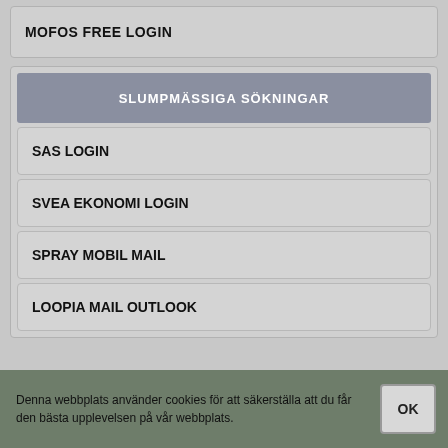MOFOS FREE LOGIN
SLUMPMÄSSIGA SÖKNINGAR
SAS LOGIN
SVEA EKONOMI LOGIN
SPRAY MOBIL MAIL
LOOPIA MAIL OUTLOOK
Denna webbplats använder cookies för att säkerställa att du får den bästa upplevelsen på vår webbplats.